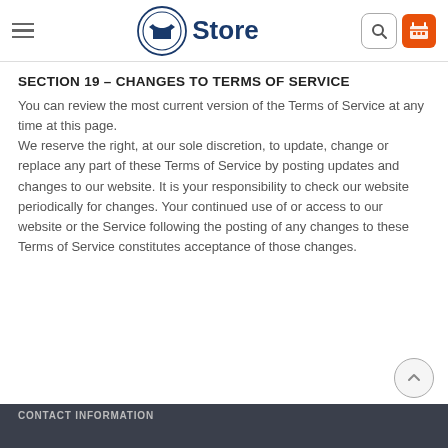Store
SECTION 19 – CHANGES TO TERMS OF SERVICE
You can review the most current version of the Terms of Service at any time at this page.
We reserve the right, at our sole discretion, to update, change or replace any part of these Terms of Service by posting updates and changes to our website. It is your responsibility to check our website periodically for changes. Your continued use of or access to our website or the Service following the posting of any changes to these Terms of Service constitutes acceptance of those changes.
CONTACT INFORMATION